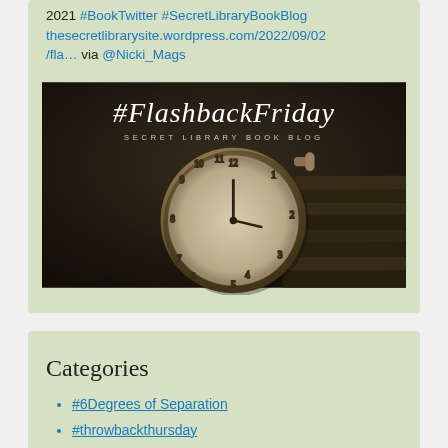2021 #BookTwitter #SecretLibraryBookBlog thesecretlibrarysite.wordpress.com/2022/09/02/fla… via @Nicki_Mags
[Figure (photo): Black and white banner image for #FlashbackFriday from Secret Library Book Blog, featuring a vintage pocket watch and old books]
Categories
#6Degrees of Separation
#throwbackthursday
1st Line/1st Paragraph